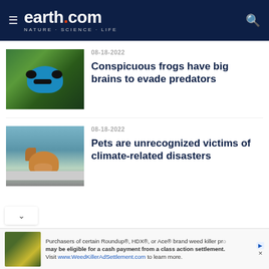earth.com — NATURE · SCIENCE · LIFE
08-18-2022
Conspicuous frogs have big brains to evade predators
[Figure (photo): Blue and black poison dart frog sitting on green moss]
08-18-2022
Pets are unrecognized victims of climate-related disasters
[Figure (photo): Golden/brown dog resting its head on a stone ledge near flood water]
Purchasers of certain Roundup®, HDX®, or Ace® brand weed killer products may be eligible for a cash payment from a class action settlement. Visit www.WeedKillerAdSettlement.com to learn more.